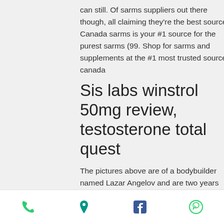can still. Of sarms suppliers out there though, all claiming they're the best source. Canada sarms is your #1 source for the purest sarms (99. Shop for sarms and supplements at the #1 most trusted source in canada
Sis labs winstrol 50mg review, testosterone total quest
The pictures above are of a bodybuilder named Lazar Angelov and are two years apart. Lazar had gone on 4 cycles of testosterone between the two pictures, testosterone total normal range. How much muscle will you gain after 1 month (on steroids?
Uscis guide forum - member profile &gt;
phone | location | facebook | whatsapp